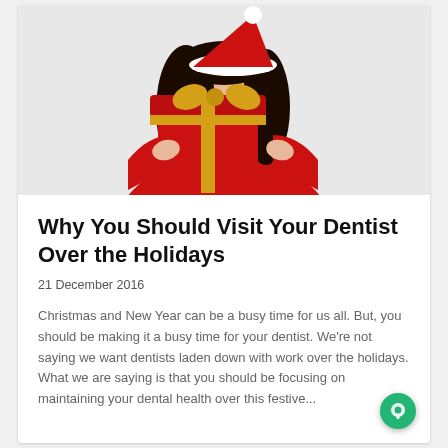[Figure (photo): A smiling woman wearing a red outfit and a white Santa hat, holding a large red gift-wrapped box with a gold bow]
Why You Should Visit Your Dentist Over the Holidays
21 December 2016
Christmas and New Year can be a busy time for us all. But, you should be making it a busy time for your dentist. We're not saying we want dentists laden down with work over the holidays. What we are saying is that you should be focusing on maintaining your dental health over this festive...